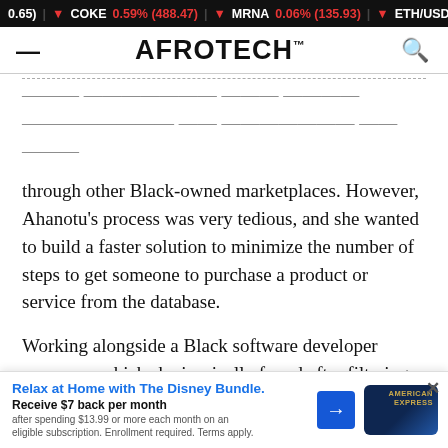Ticker: COKE 0.59% (488.47) | MRNA 0.06% (135.93) | ETH/USD 0.05%
AFROTECH™
through other Black-owned marketplaces. However, Ahanotu's process was very tedious, and she wanted to build a faster solution to minimize the number of steps to get someone to purchase a product or service from the database.
Working alongside a Black software developer company, which she ironically found after filtering through 30 pages on Google, Hiihat launched in March 2021.
Over one year later, she told us the platform is fully functioning, with nearly 500,000 links built into the search engine. For Ahanotu, the extensive search engine may come at a cost, as it is self-funded. However, the efforts are wo... ...ccess to gre...
[Figure (screenshot): Disney Bundle / American Express advertisement overlay at bottom of article page]